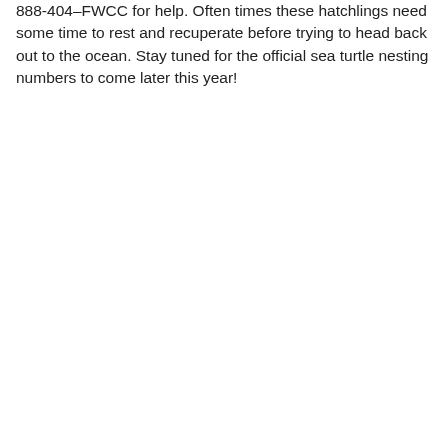888-404–FWCC for help. Often times these hatchlings need some time to rest and recuperate before trying to head back out to the ocean. Stay tuned for the official sea turtle nesting numbers to come later this year!